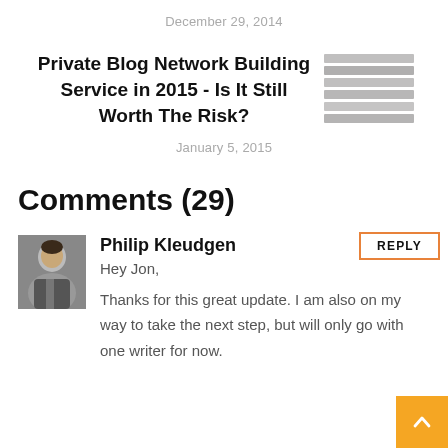December 29, 2014
Private Blog Network Building Service in 2015 - Is It Still Worth The Risk?
[Figure (illustration): Thumbnail image with horizontal lines representing an article image]
January 5, 2015
Comments (29)
[Figure (photo): Avatar photo of Philip Kleudgen, a person in a suit]
Philip Kleudgen
Hey Jon,
Thanks for this great update. I am also on my way to take the next step, but will only go with one writer for now.